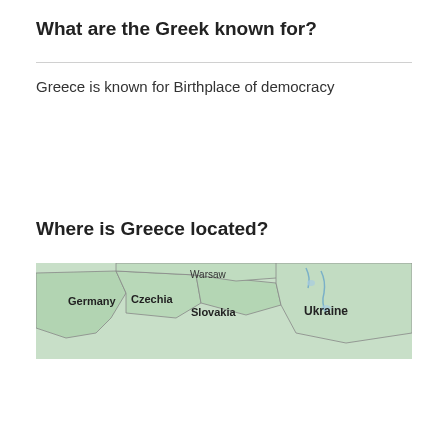What are the Greek known for?
Greece is known for Birthplace of democracy
Where is Greece located?
[Figure (map): Map showing central/eastern Europe with labels: Germany, Warsaw, Czechia, Slovakia, Ukraine]